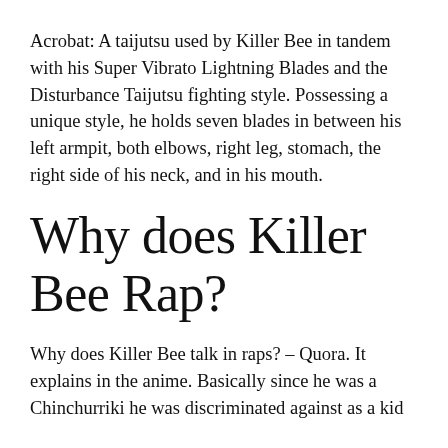Acrobat: A taijutsu used by Killer Bee in tandem with his Super Vibrato Lightning Blades and the Disturbance Taijutsu fighting style. Possessing a unique style, he holds seven blades in between his left armpit, both elbows, right leg, stomach, the right side of his neck, and in his mouth.
Why does Killer Bee Rap?
Why does Killer Bee talk in raps? – Quora. It explains in the anime. Basically since he was a Chinchurriki he was discriminated against as a kid